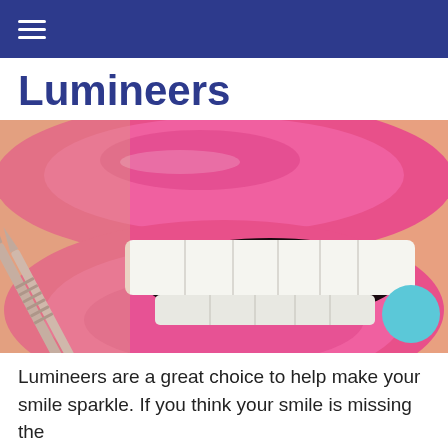navigation bar with hamburger menu
Lumineers
[Figure (photo): Close-up photo of a woman's open mouth with bright pink lipstick, showing white upper teeth. A dental tool (tweezers/forceps) is being held near the teeth, suggesting a dental veneer or lumineer procedure.]
Lumineers are a great choice to help make your smile sparkle. If you think your smile is missing the